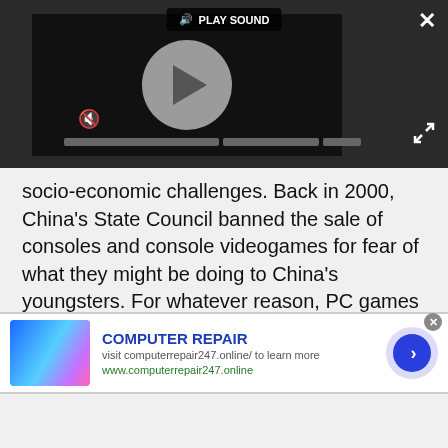[Figure (screenshot): Video player overlay with play button, mute icon, PLAY SOUND label, progress bars, close (X) button, and expand button on dark background]
socio-economic challenges. Back in 2000, China's State Council banned the sale of consoles and console videogames for fear of what they might be doing to China's youngsters. For whatever reason, PC games were omitted from that ban, so gamers had no choice but to play games on PCs.
Advertisement
[Figure (screenshot): Advertisement banner for COMPUTER REPAIR - visit computerrepair247.online/ to learn more - www.computerrepair247.online - with blue tech image and circular CTA button]